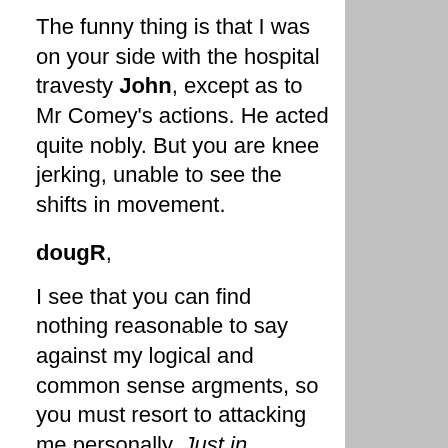The funny thing is that I was on your side with the hospital travesty John, except as to Mr Comey's actions. He acted quite nobly. But you are knee jerking, unable to see the shifts in movement.
dougR,
I see that you can find nothing reasonable to say against my logical and common sense argments, so you must resort to attacking me personally. Just in